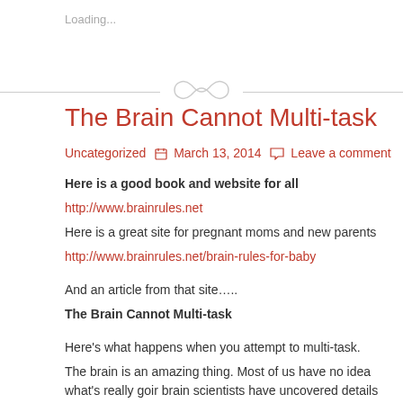Loading...
The Brain Cannot Multi-task
Uncategorized   March 13, 2014   Leave a comment
Here is a good book and website for all
http://www.brainrules.net
Here is a great site for pregnant moms and new parents
http://www.brainrules.net/brain-rules-for-baby
And an article from that site…..
The Brain Cannot Multi-task
Here's what happens when you attempt to multi-task.
The brain is an amazing thing. Most of us have no idea what's really going on inside our heads, but brain scientists have uncovered details every business leader, parent, and
How do we learn? What exactly do sleep and stress do to our brains? W